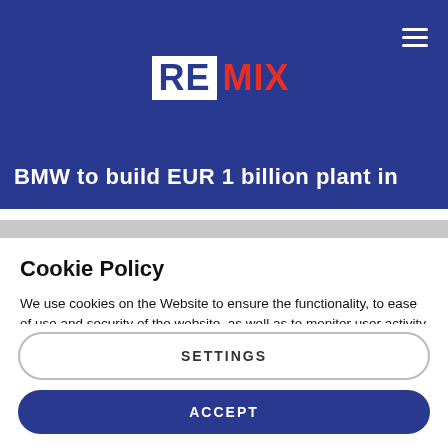[Figure (logo): REMIX logo with RE in white box on blue background and MIX in red text]
BMW to build EUR 1 billion plant in
Cookie Policy
We use cookies on the Website to ensure the functionality, to ease of use and security of the website, as well as to monitor user activity and to collect information about your browsing habits in order to make advertising relevant to you and your interests.
Clicking on "Accept" you can allow all cookies. If you would like to reject or customize, please click on "Settings".
Read more: Cookie Policy
SETTINGS
ACCEPT